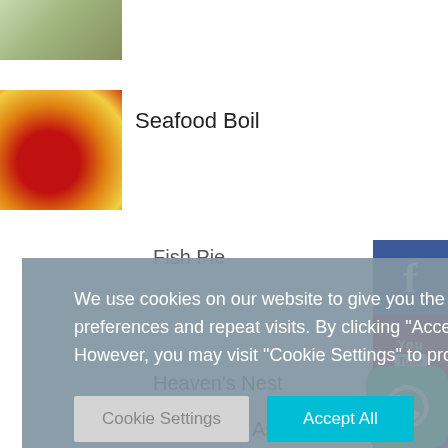[Figure (photo): Partial food image at top left, cropped]
[Figure (photo): Seafood boil dish with colorful seafood and vegetables]
Seafood Boil
Fish Pie
We use cookies on our website to give you the most relevant experience by remembering your preferences and repeat visits. By clicking “Accept All”, you consent to the use of ALL the cookies. However, you may visit “Cookie Settings” to provide a controlled consent.
Cookie Settings
Accept All
[Figure (logo): Facebook social media icon - blue square with white f]
[Figure (logo): YouTube social media icon - red square with YouTube logo]
[Figure (logo): Instagram social media icon - gradient square with camera icon]
[Figure (logo): WhatsApp icon - green rounded square with phone handset]
Heaven’s Nest
Ocean View Association for Persons With